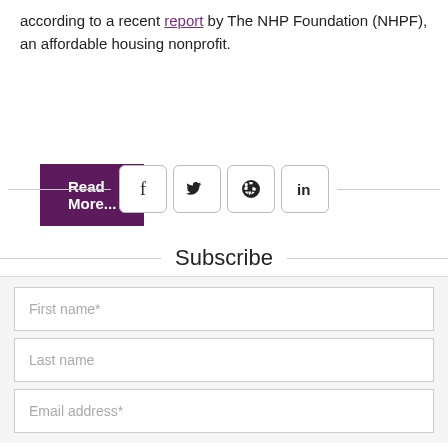according to a recent report by The NHP Foundation (NHPF), an affordable housing nonprofit.
Read More...
[Figure (infographic): Social sharing icons for Facebook, Twitter, Pinterest, and LinkedIn arranged horizontally with dividing lines on each side.]
Subscribe
First name*
Last name
Email address*